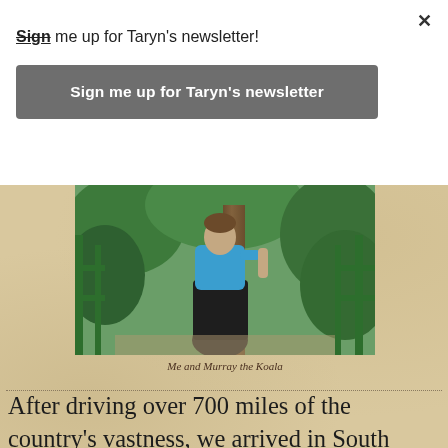Sign me up for Taryn's newsletter!
Sign me up for Taryn's newsletter
[Figure (photo): A person in a blue shirt and dark skirt hugging or standing next to a tree trunk, outdoors with green railings and vegetation in the background.]
Me and Murray the Koala
After driving over 700 miles of the country's vastness, we arrived in South Australia where we had to set our clocks back 30 minutes and our mindsets back 30 years. The capital of SA, Adelaide, is not as cosmopolitan as Sydney or Melbourne (although I'll bet people from the